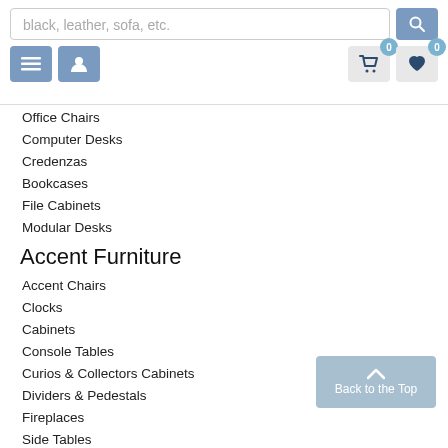Search bar and navigation icons
Office Chairs
Computer Desks
Credenzas
Bookcases
File Cabinets
Modular Desks
Accent Furniture
Accent Chairs
Clocks
Cabinets
Console Tables
Curios & Collectors Cabinets
Dividers & Pedestals
Fireplaces
Side Tables
Ottomans, Benches & Hall Trees
Home Décor & Accents
Accent Pillows & Throws
Area Rugs